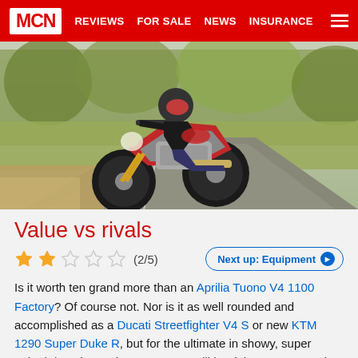MCN | REVIEWS | FOR SALE | NEWS | INSURANCE
[Figure (photo): Motorcycle rider on a naked superbike (MV Agusta) leaning into a corner on a road, with green field and trees in background]
Value vs rivals
(2/5) Next up: Equipment
Is it worth ten grand more than an Aprilia Tuono V4 1100 Factory? Of course not. Nor is it as well rounded and accomplished as a Ducati Streetfighter V4 S or new KTM 1290 Super Duke R, but for the ultimate in showy, super naked decadence the MV Agusta will be right up your strada, if you've